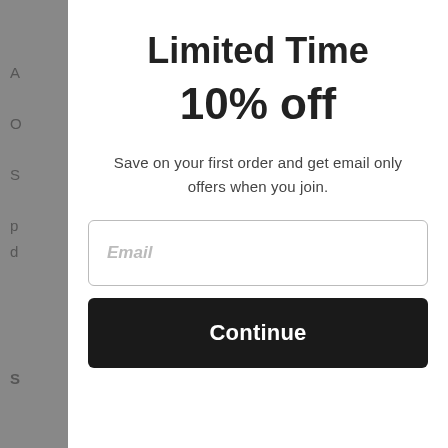Limited Time
10% off
Save on your first order and get email only offers when you join.
Email
Continue